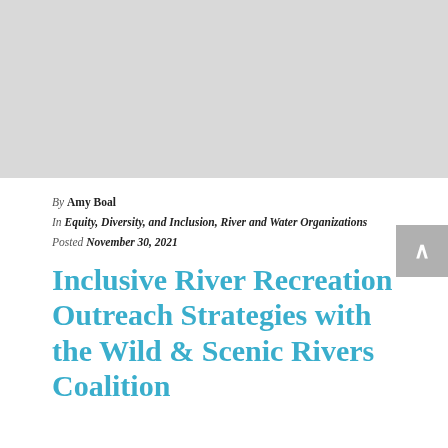[Figure (photo): Gray placeholder image at top of page]
By Amy Boal
In Equity, Diversity, and Inclusion, River and Water Organizations
Posted November 30, 2021
Inclusive River Recreation Outreach Strategies with the Wild & Scenic Rivers Coalition